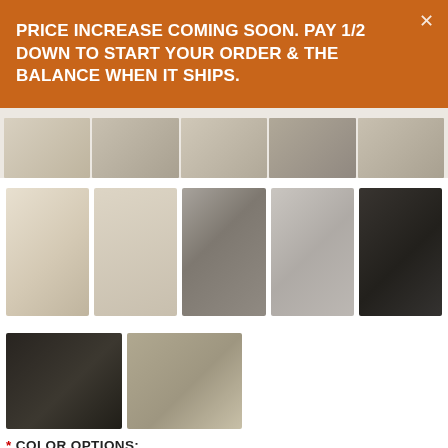PRICE INCREASE COMING SOON. PAY 1/2 DOWN TO START YOUR ORDER & THE BALANCE WHEN IT SHIPS.
[Figure (photo): Row of partial furniture thumbnail images along top strip]
[Figure (photo): Five product thumbnails: cream sofa side view, cream corner detail, cream sofa in room setting, cream sofas in room, dark leather sofa set in room]
[Figure (photo): Two product thumbnails: dark leather sofa set in room, tan sofas in room with brick wall]
* COLOR OPTIONS:
[Figure (photo): Grid of leather color swatches in various colors: brown, charcoal, black, espresso, walnut, slate, gray, rust, tan, dark brown, teal, caramel, navy, dark gray, medium brown, deep brown, sand]